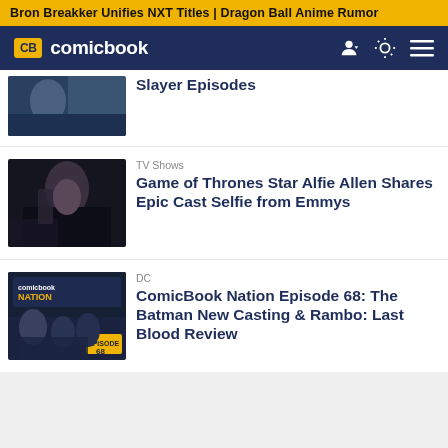Bron Breakker Unifies NXT Titles | Dragon Ball Anime Rumor
[Figure (logo): ComicBook.com logo with CB badge in yellow and site name in white on dark navy navigation bar]
[Figure (photo): Partially visible article thumbnail showing a person in blue tones]
Slayer Episodes
[Figure (photo): Dark scene with a woman with long dark hair in black outfit, another figure behind her]
TV Shows
Game of Thrones Star Alfie Allen Shares Epic Cast Selfie from Emmys
[Figure (photo): ComicBook Nation Episode 68 podcast cover art with several people including Sylvester Stallone style imagery]
DC
ComicBook Nation Episode 68: The Batman New Casting & Rambo: Last Blood Review